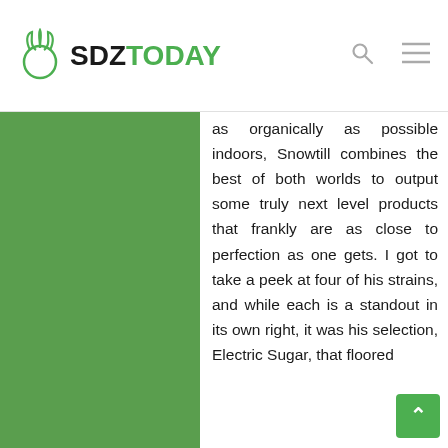SDZTODAY
[Figure (photo): Green background area, likely a plant or nature photo]
as organically as possible indoors, Snowtill combines the best of both worlds to output some truly next level products that frankly are as close to perfection as one gets. I got to take a peek at four of his strains, and while each is a standout in its own right, it was his selection, Electric Sugar, that floored